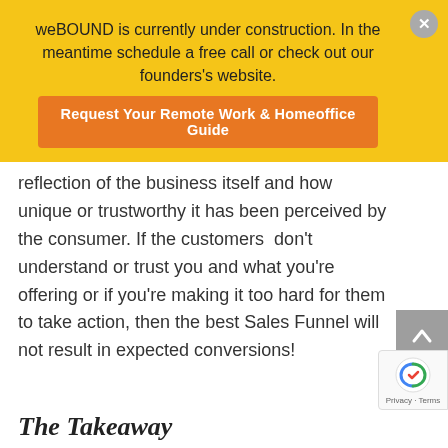weBOUND is currently under construction. In the meantime schedule a free call or check out our founders's website.
Request Your Remote Work & Homeoffice Guide
reflection of the business itself and how unique or trustworthy it has been perceived by the consumer. If the customers  don't understand or trust you and what you're offering or if you're making it too hard for them to take action, then the best Sales Funnel will not result in expected conversions!
The Takeaway